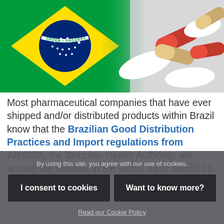[Figure (photo): Composite image showing the Brazilian flag on the left (green, yellow diamond, blue circle with stars and 'ORDEM E PROGRESSO') blending into a photo of pharmaceutical capsules and pills (pink, white, and tan/gold) on the right.]
Most pharmaceutical companies that have ever shipped and/or distributed products within Brazil know that the Brazilian Good Distribution Practices and Import regulations from ANVISA, the Brazilian Health Authority, are among the strictest in the world. As of March 16,
By using this site, you agree with our use of cookies.
I consent to cookies
Want to know more?
Read our Cookie Policy